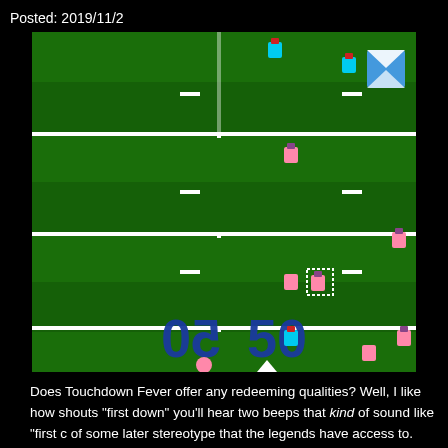Posted: 2019/11/2
[Figure (screenshot): Screenshot of Touchdown Fever NES/arcade football video game showing a top-down view of a green football field with yard lines, pink and teal player sprites, a football icon in the upper right, and large '50' yard marker numbers in the lower portion of the screen.]
Does Touchdown Fever offer any redeeming qualities? Well, I like how shouts "first down" you'll hear two beeps that kind of sound like "first c of some later stereotype that the legends have access to. There was in the